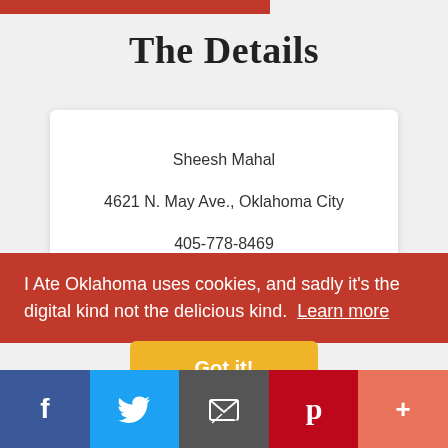The Details
Sheesh Mahal
4621 N. May Ave., Oklahoma City
405-778-8469
Facebook: @sheeshmahal4621
Instagram: @sheeshmahalokc
I Ate Oklahoma uses cookies, and sadly it's the digital kind not the delicious kind. Learn more
[Figure (infographic): Social sharing toolbar with Facebook, Twitter, Email, Pinterest, and More buttons]